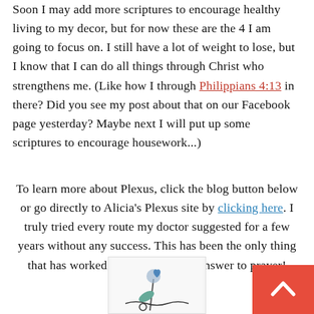Soon I may add more scriptures to encourage healthy living to my decor, but for now these are the 4 I am going to focus on. I still have a lot of weight to lose, but I know that I can do all things through Christ who strengthens me. (Like how I through Philippians 4:13 in there? Did you see my post about that on our Facebook page yesterday? Maybe next I will put up some scriptures to encourage housework...)
To learn more about Plexus, click the blog button below or go directly to Alicia's Plexus site by clicking here. I truly tried every route my doctor suggested for a few years without any success. This has been the only thing that has worked for me so far. An answer to prayer!
[Figure (illustration): Partial image of a decorative illustration, partially visible at the bottom of the page]
[Figure (other): Red scroll-to-top button with white upward arrow chevron]